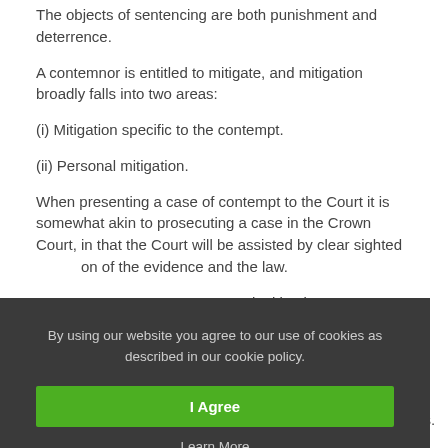The objects of sentencing are both punishment and deterrence.
A contemnor is entitled to mitigate, and mitigation broadly falls into two areas:
(i) Mitigation specific to the contempt.
(ii) Personal mitigation.
When presenting a case of contempt to the Court it is somewhat akin to prosecuting a case in the Crown Court, in that the Court will be assisted by clear sighted [presentation] of the evidence and the law.
[Factors relevant] to personal mitigation are:
[References] / professional role /
[...] ss.
By using our website you agree to our use of cookies as described in our cookie policy.
I Agree
Learn More